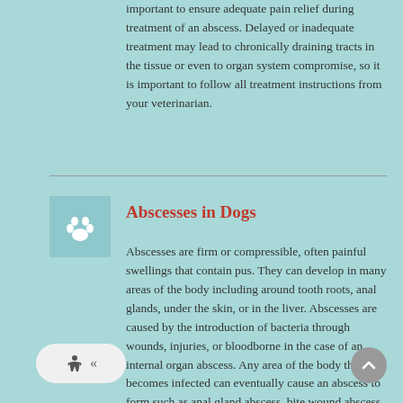important to ensure adequate pain relief during treatment of an abscess. Delayed or inadequate treatment may lead to chronically draining tracts in the tissue or even to organ system compromise, so it is important to follow all treatment instructions from your veterinarian.
Abscesses in Dogs
Abscesses are firm or compressible, often painful swellings that contain pus. They can develop in many areas of the body including around tooth roots, anal glands, under the skin, or in the liver. Abscesses are caused by the introduction of bacteria through wounds, injuries, or bloodborne in the case of an internal organ abscess. Any area of the body that becomes infected can eventually cause an abscess to form such as anal gland abscess, bite wound abscess, prostatic abscess, or brain abscess from inner ear or sinus infection. Treatment depends on severity and location and usually involves removal of the pus either through drainage or surgical removal, the use of antibiotics based on the type of bacteria and location of the abscess, and pain control